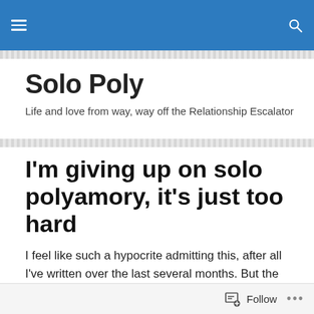Solo Poly — site header navigation bar
Solo Poly
Life and love from way, way off the Relationship Escalator
I'm giving up on solo polyamory, it's just too hard
I feel like such a hypocrite admitting this, after all I've written over the last several months. But the truth is, I've been lying to myself. After a several days of soul searching following my republication of Master So N So's guest poly Polyamory is Hard, I've realized that I've been
Follow